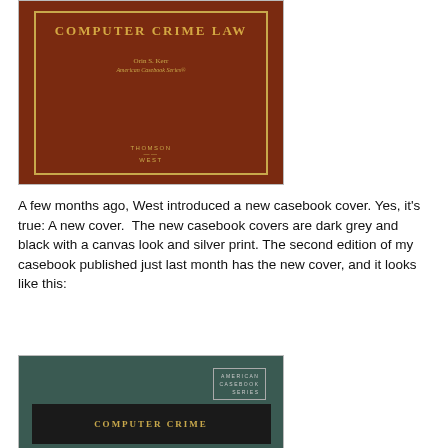[Figure (photo): Book cover of 'Computer Crime Law' first edition by Orin S. Kerr, American Casebook Series, Thomson West. Dark red/brown cover with gold border and gold lettering.]
A few months ago, West introduced a new casebook cover. Yes, it's true: A new cover.  The new casebook covers are dark grey and black with a canvas look and silver print. The second edition of my casebook published just last month has the new cover, and it looks like this:
[Figure (photo): Book cover of 'Computer Crime' second edition, American Casebook Series. Dark grey/teal cover with silver and white lettering. A black band at bottom shows the title in gold.]